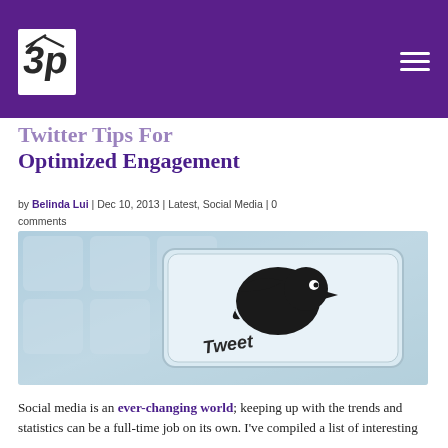Twitter Tips For Optimized Engagement — blog header with logo and hamburger menu
Twitter Tips For Optimized Engagement
by Belinda Lui | Dec 10, 2013 | Latest, Social Media | 0 comments
[Figure (photo): A keyboard key with the Twitter bird logo and the word 'Tweet' on it, rendered in a blue-tinted monochrome style.]
Social media is an ever-changing world; keeping up with the trends and statistics can be a full-time job on its own. I've compiled a list of interesting